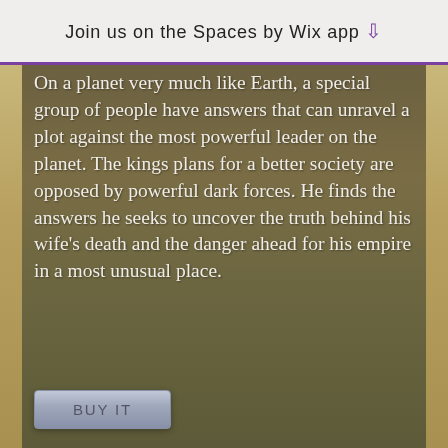Join us on the Spaces by Wix app ↓
On a planet very much like Earth, a special group of people have answers that can unravel a plot against the most powerful leader on the planet. The kings plans for a better society are opposed by powerful dark forces. He finds the answers he seeks to uncover the truth behind his wife's death and the danger ahead for his empire in a most unusual place.
[Figure (screenshot): BUY IT button — grey gradient rounded rectangle button]
[Figure (illustration): Book cover for 'The Panther Queen – Book II of the Whale Whisperers Saga'. Dark background with black panther/cat with glowing green eyes and blue fabric drape. Title in decorative blue-white font.]